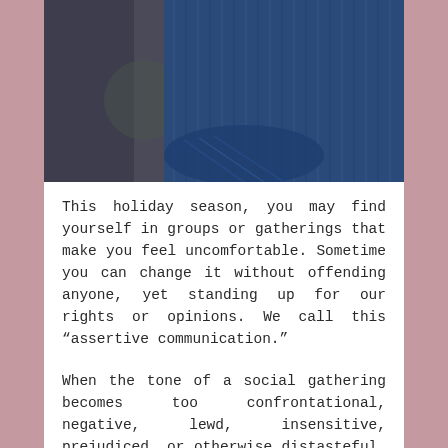[Figure (photo): A person wearing a blue striped shirt with arms crossed, photographed from chest level up against a blurred background.]
This holiday season, you may find yourself in groups or gatherings that make you feel uncomfortable. Sometime you can change it without offending anyone, yet standing up for our rights or opinions. We call this “assertive communication.”
When the tone of a social gathering becomes too confrontational, negative, lewd, insensitive, prejudiced, or otherwise distasteful, you needn’t